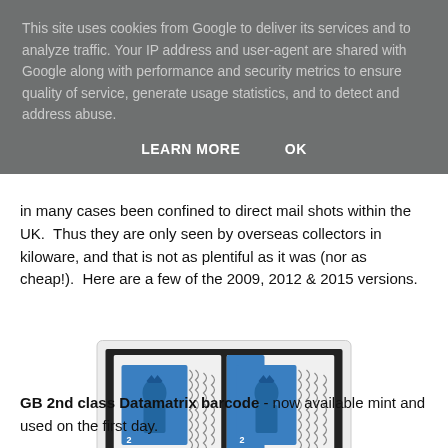This site uses cookies from Google to deliver its services and to analyze traffic. Your IP address and user-agent are shared with Google along with performance and security metrics to ensure quality of service, generate usage statistics, and to detect and address abuse.
LEARN MORE    OK
in many cases been confined to direct mail shots within the UK.  Thus they are only seen by overseas collectors in kiloware, and that is not as plentiful as it was (nor as cheap!).  Here are a few of the 2009, 2012 & 2015 versions.
[Figure (photo): Two blue GB Royal Mail stamps showing Queen Elizabeth II Machin head design, with wavy postmark cancellation lines. Left stamp is self-adhesive second class, right stamp is similar second class with blue background. Both on white paper backing.]
GB 2nd class Datamatrix barcode - now available mint and used on the first day.